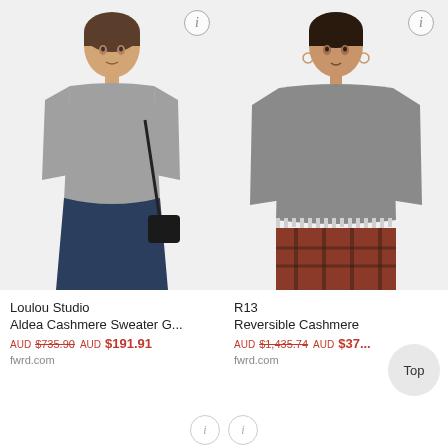[Figure (photo): Model wearing a grey cashmere sweater with navy midi skirt and black crossbody bag — Loulou Studio product photo]
[Figure (photo): Model wearing a grey reversible cashmere sweater with fringe hem over plaid pants — R13 product photo]
Loulou Studio
Aldea Cashmere Sweater G...
AUD $735.90 AUD $191.91
fwrd.com
R13
Reversible Cashmere
AUD $1,435.74 AUD $37...
fwrd.com